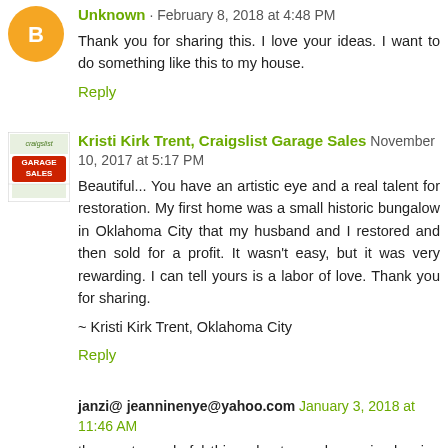Unknown · February 8, 2018 at 4:48 PM
Thank you for sharing this. I love your ideas. I want to do something like this to my house.
Reply
Kristi Kirk Trent, Craigslist Garage Sales · November 10, 2017 at 5:17 PM
Beautiful... You have an artistic eye and a real talent for restoration. My first home was a small historic bungalow in Oklahoma City that my husband and I restored and then sold for a profit. It wasn't easy, but it was very rewarding. I can tell yours is a labor of love. Thank you for sharing.

~ Kristi Kirk Trent, Oklahoma City
Reply
janzi@ jeanninenye@yahoo.com · January 3, 2018 at 11:46 AM
the most wonderful thing about your house is showing us...